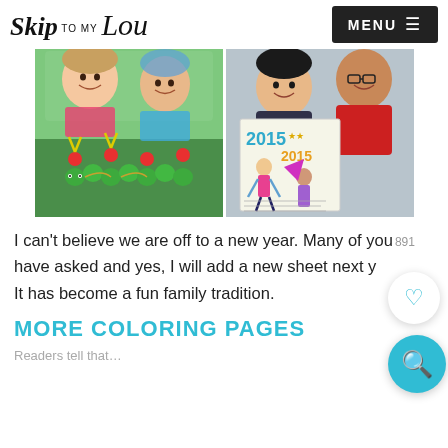Skip to my Lou
[Figure (photo): Two young girls smiling, lying on grass with green egg-carton caterpillar crafts in foreground]
[Figure (photo): Two girls smiling, one wearing glasses, holding up 2015 coloring/activity pages with drawings]
I can't believe we are off to a new year. Many of you have asked and yes, I will add a new sheet next year. It has become a fun family tradition.
MORE COLORING PAGES
Readers tell that...